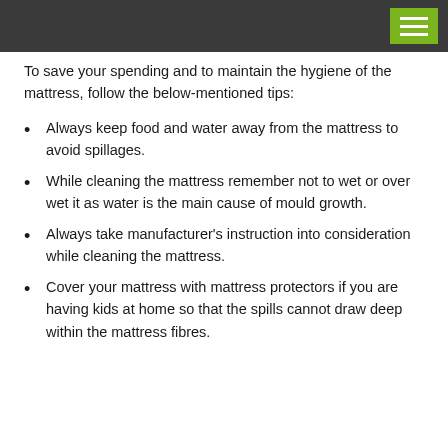To save your spending and to maintain the hygiene of the mattress, follow the below-mentioned tips:
Always keep food and water away from the mattress to avoid spillages.
While cleaning the mattress remember not to wet or over wet it as water is the main cause of mould growth.
Always take manufacturer's instruction into consideration while cleaning the mattress.
Cover your mattress with mattress protectors if you are having kids at home so that the spills cannot draw deep within the mattress fibres.